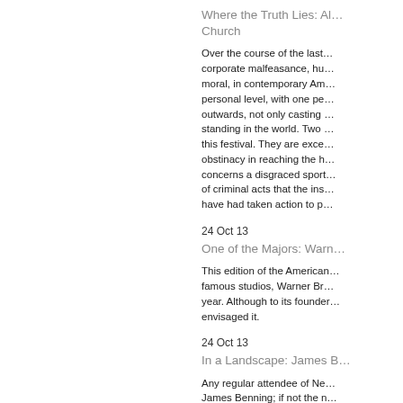Where the Truth Lies: Al… Church
Over the course of the last… corporate malfeasance, hu… moral, in contemporary Am… personal level, with one pe… outwards, not only casting … standing in the world. Two … this festival. They are exce… obstinacy in reaching the h… concerns a disgraced sport… of criminal acts that the ins… have had taken action to p…
24 Oct 13
One of the Majors: Warn…
This edition of the American… famous studios, Warner Br… year. Although to its founder… envisaged it.
24 Oct 13
In a Landscape: James B…
Any regular attendee of Ne… James Benning; if not the n… …ertainly to film…